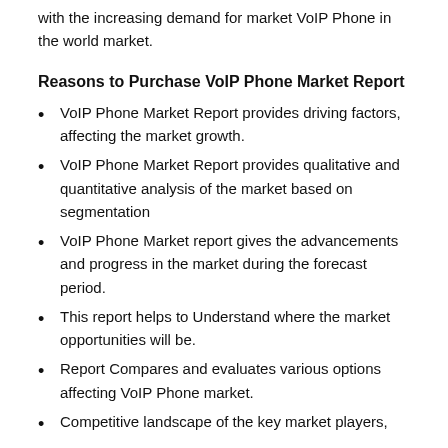with the increasing demand for market VoIP Phone in the world market.
Reasons to Purchase VoIP Phone Market Report
VoIP Phone Market Report provides driving factors, affecting the market growth.
VoIP Phone Market Report provides qualitative and quantitative analysis of the market based on segmentation
VoIP Phone Market report gives the advancements and progress in the market during the forecast period.
This report helps to Understand where the market opportunities will be.
Report Compares and evaluates various options affecting VoIP Phone market.
Competitive landscape of the key market players,